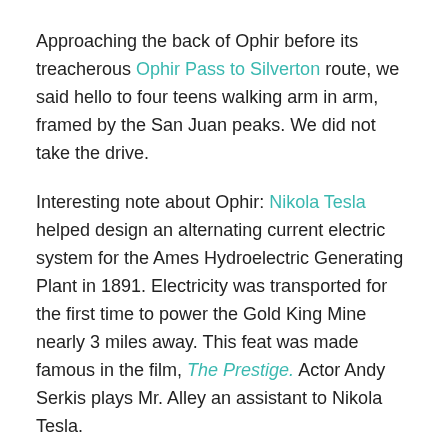Approaching the back of Ophir before its treacherous Ophir Pass to Silverton route, we said hello to four teens walking arm in arm, framed by the San Juan peaks. We did not take the drive.
Interesting note about Ophir: Nikola Tesla helped design an alternating current electric system for the Ames Hydroelectric Generating Plant in 1891. Electricity was transported for the first time to power the Gold King Mine nearly 3 miles away. This feat was made famous in the film, The Prestige. Actor Andy Serkis plays Mr. Alley an assistant to Nikola Tesla.
Finally, here's the scoop on Telluride's Superfund Site. Previous mining operations involved the use of lead and arsenic in processing the ore. Starting last July the EPA initiated a cleanup and disposal of lead and arsenic...